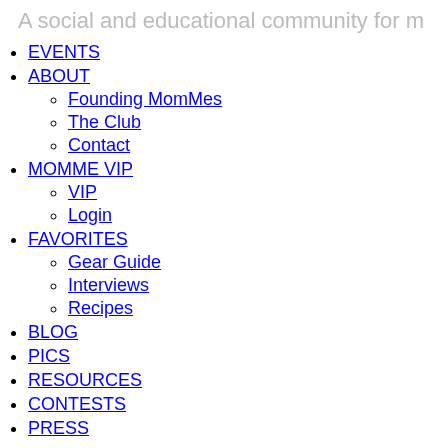A social and educational community for m
EVENTS
ABOUT
Founding MomMes
The Club
Contact
MOMME VIP
VIP
Login
FAVORITES
Gear Guide
Interviews
Recipes
BLOG
PICS
RESOURCES
CONTESTS
PRESS
Top
EVENTS
ABOUT